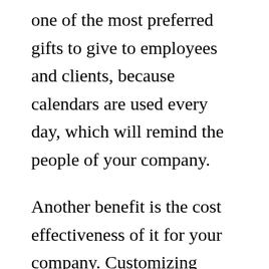one of the most preferred gifts to give to employees and clients, because calendars are used every day, which will remind the people of your company.
Another benefit is the cost effectiveness of it for your company. Customizing corporate gifts printing corporate gifts are definitely less expensive, as compared to giving monetary incentives to the people who are associated with your company; employees, customers, and suppliers. Not to mention,